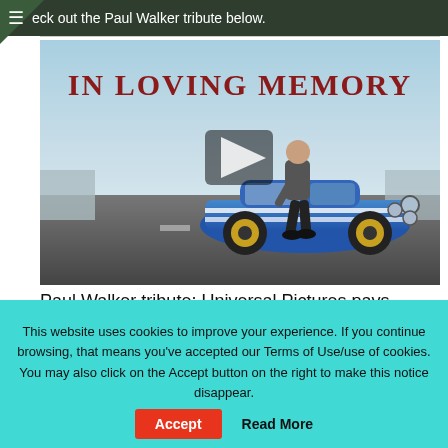eck out the Paul Walker tribute below.
[Figure (photo): Video thumbnail showing 'In Loving Memory' text overlay with a man leaning against a blue racing car on a road, with a play button overlay. Paul Walker tribute video.]
Paul Walker tribute: Universal Pictures pays homage to one of the stars – along with Vin Diesel
This website uses cookies to improve your experience. If you continue browsing, that means you've accepted our Terms of Use/use of cookies. You may also click on the Accept button on the right to make this notice disappear.